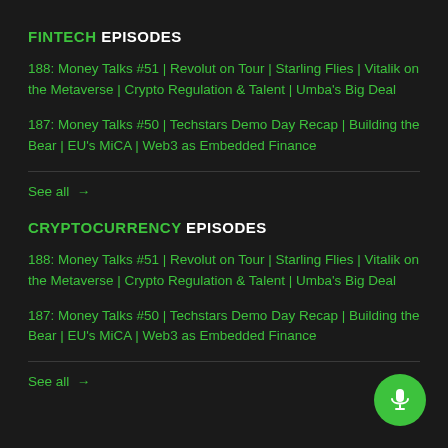FINTECH EPISODES
188: Money Talks #51 | Revolut on Tour | Starling Flies | Vitalik on the Metaverse | Crypto Regulation & Talent | Umba's Big Deal
187: Money Talks #50 | Techstars Demo Day Recap | Building the Bear | EU's MiCA | Web3 as Embedded Finance
See all →
CRYPTOCURRENCY EPISODES
188: Money Talks #51 | Revolut on Tour | Starling Flies | Vitalik on the Metaverse | Crypto Regulation & Talent | Umba's Big Deal
187: Money Talks #50 | Techstars Demo Day Recap | Building the Bear | EU's MiCA | Web3 as Embedded Finance
See all →
[Figure (illustration): Green circular microphone button in bottom right corner]